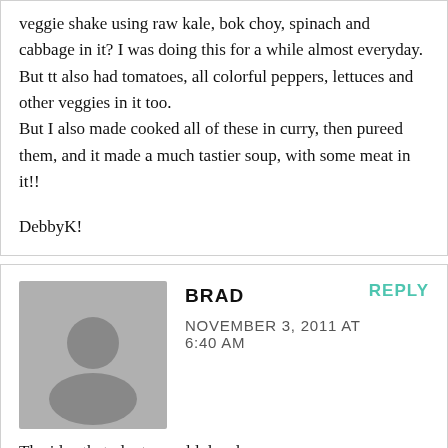veggie shake using raw kale, bok choy, spinach and cabbage in it? I was doing this for a while almost everyday. But tt also had tomatoes, all colorful peppers, lettuces and other veggies in it too.
But I also made cooked all of these in curry, then pureed them, and it made a much tastier soup, with some meat in it!!
DebbyK!
BRAD
NOVEMBER 3, 2011 AT 6:40 AM
REPLY
[Figure (illustration): Gray avatar placeholder with a generic person silhouette icon]
The idea that plants would develop